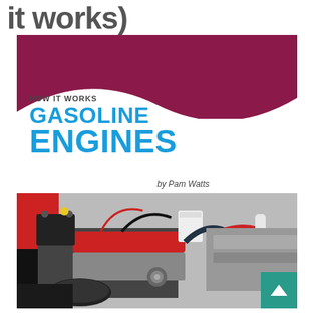it works)
[Figure (photo): Book cover for 'How It Works: Gasoline Engines' by Pam Watts. The cover features a purple/magenta top band with a white wave design, bold blue text for the title, and a photograph of a car engine bay showing a modified engine with red intake manifold, battery, hoses, and various engine components visible under an open hood.]